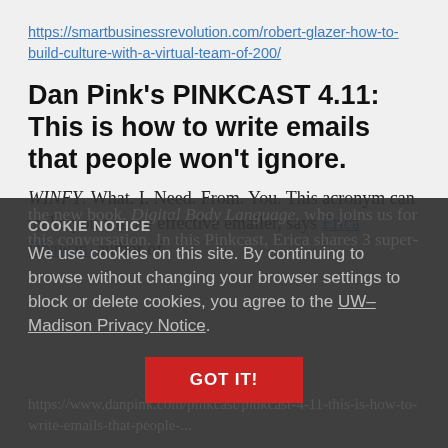https://smartbusinessrevolution.com/robert-glazer-how-to-build-culture-with-a-virtual-team-of-200/
Dan Pink's PINKCAST 4.11: This is how to write emails that people won't ignore.
WINFY. What. I. Need. From. You. This acronym can make you a more effective emailer, says Erica Dhawan, author of
COOKIE NOTICE
We use cookies on this site. By continuing to browse without changing your browser settings to block or delete cookies, you agree to the UW–Madison Privacy Notice.
GOT IT!